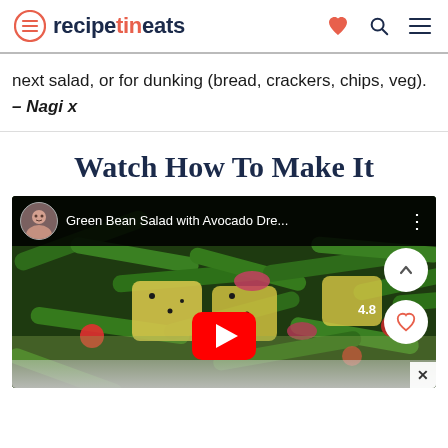recipetineats
next salad, or for dunking (bread, crackers, chips, veg). – Nagi x
Watch How To Make It
[Figure (screenshot): YouTube video embed showing 'Green Bean Salad with Avocado Dre...' with a thumbnail of green bean salad, a play button, channel avatar, side up-chevron and heart buttons, rating badge showing 4.8, and a close X button.]